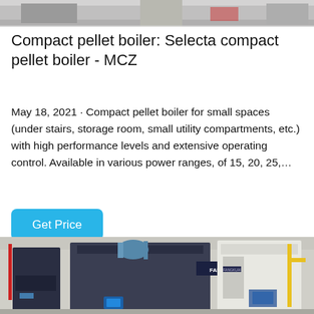[Figure (photo): Top portion of an industrial boiler installation, partially cropped at the top of the page]
Compact pellet boiler: Selecta compact pellet boiler - MCZ
May 18, 2021 · Compact pellet boiler for small spaces (under stairs, storage room, small utility compartments, etc.) with high performance levels and extensive operating control. Available in various power ranges, of 15, 20, 25,…
[Figure (photo): Industrial boiler units (FANGKUAI branded) installed in a large facility, showing multiple large blue-paneled boiler machines in a warehouse-type setting with pipes and yellow gas infrastructure visible]